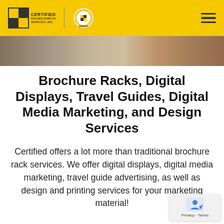Certified Folder Display Services, Inc. — navigation header with logos and hamburger menu
[Figure (photo): Photo strip showing interior display/brochure rack setting]
Brochure Racks, Digital Displays, Travel Guides, Digital Media Marketing, and Design Services
Certified offers a lot more than traditional brochure rack services. We offer digital displays, digital media marketing, travel guide advertising, as well as design and printing services for your marketing material!